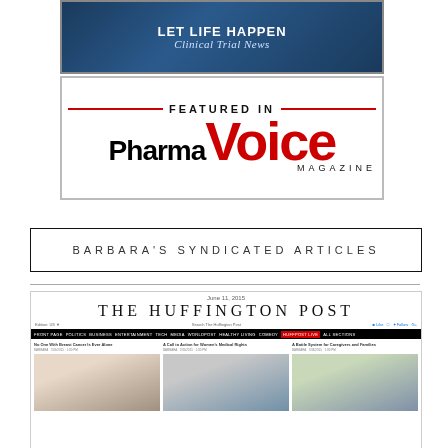[Figure (screenshot): Clinical Trial News banner with dark blue background and white text reading 'LET LIFE HAPPEN' and 'Clinical Trial News']
[Figure (logo): Featured In PharmaVoice Magazine badge with red horizontal lines, black 'Pharma' text and large red 'VOICE' text, and 'MAGAZINE' below]
BARBARA'S SYNDICATED ARTICLES
[Figure (screenshot): Screenshot of The Huffington Post website dated June 11, 2015, showing navigation bar and three article thumbnails with headlines about breast cancer, women's medical rights, and caregiving]